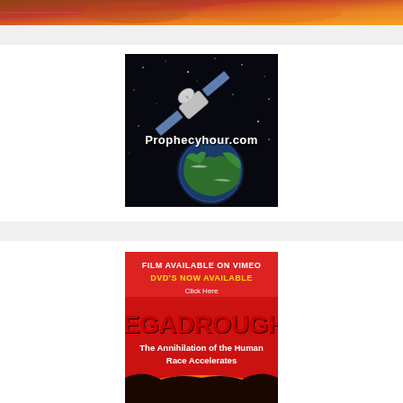[Figure (illustration): Top banner image with historical/apocalyptic imagery in warm orange and red tones]
[Figure (logo): Prophecyhour.com logo showing a satellite orbiting Earth against a starry black background with white text 'Prophecyhour.com']
[Figure (illustration): MEGADROUGHT advertisement: red background with text 'FILM AVAILABLE ON VIMEO', 'DVD'S NOW AVAILABLE' in yellow, 'Click Here' in white, 'MEGADROUGHT' in large red letters, 'The Annihilation of the Human Race Accelerates' in white text on red background]